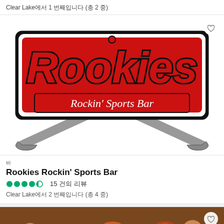Clear Lake에서 1 번째입니다 (총 2 중)
[Figure (logo): Rookies Rockin' Sports Bar logo — bold red script 'Rookies' with black outlines on white background, red banner reading 'Rockin' Sports Bar' in white italic script, crossed hockey sticks behind the text]
바
Rookies Rockin' Sports Bar
●●●●◐ 15 건의 리뷰
Clear Lake에서 2 번째입니다 (총 4 중)
[Figure (photo): Indoor bar/crowd photo showing a group of people cheering and celebrating inside a bar with warm lighting and wooden decor]